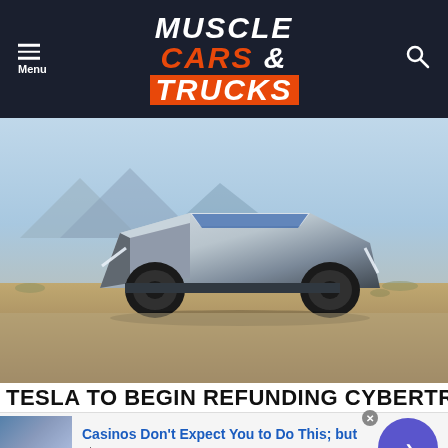MUSCLE CARS & TRUCKS
[Figure (photo): Tesla Cybertruck parked on a dirt/desert road with mountains and shrubs in background]
TESLA TO BEGIN REFUNDING CYBERTRUCK
[Figure (infographic): Advertisement: Casinos Don't Expect You to Do This; but — n/a — daily-winners.com, with thumbnail of a man in blue shirt and a circular arrow button]